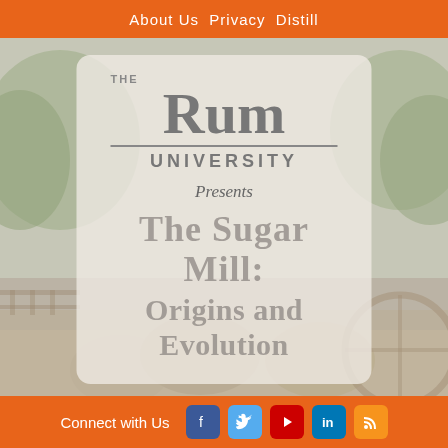About Us  Privacy  Distill
[Figure (photo): Outdoor background photo showing trees, stone ruins or mill structure with wooden wheel, muted/washed out tones]
THE Rum UNIVERSITY Presents The Sugar Mill: Origins and Evolution
Connect with Us [Facebook] [Twitter] [YouTube] [LinkedIn] [RSS]